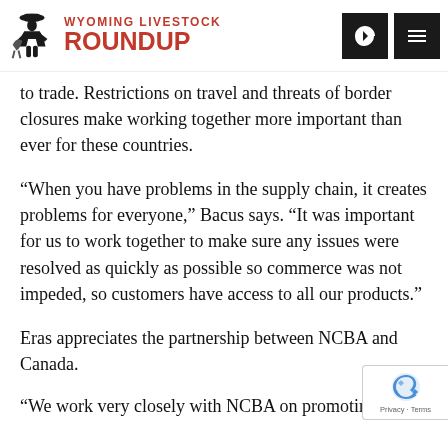Wyoming Livestock Roundup
to trade. Restrictions on travel and threats of border closures make working together more important than ever for these countries.
“When you have problems in the supply chain, it creates problems for everyone,” Bacus says. “It was important for us to work together to make sure any issues were resolved as quickly as possible so commerce was not impeded, so customers have access to all our products.”
Eras appreciates the partnership between NCBA and Canada.
“We work very closely with NCBA on promoting